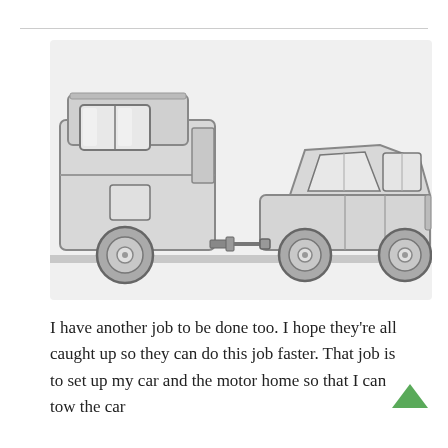[Figure (illustration): Line art illustration of an SUV towing a large motorhome/RV. The SUV is on the right, connected via a tow bar to the back of the motorhome on the left. Both vehicles are shown in profile view on a road surface. The drawing is in grayscale with light shading.]
I have another job to be done too. I hope they're all caught up so they can do this job faster. That job is to set up my car and the motor home so that I can tow the car